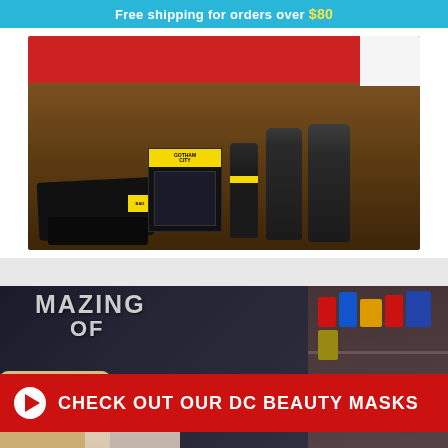Free shipping for orders over $80
[Figure (photo): Batman Gotham City grooming product set including black box, tubes, and black cloth/towels on a wooden surface with red shelf background]
[Figure (screenshot): Video thumbnail showing people wearing DC superhero face masks (Wonder Woman, Superman) in front of toy shelves, with text 'MAZING OF' visible, and a red banner overlay reading 'CHECK OUT OUR DC BEAUTY MASKS' with a play button]